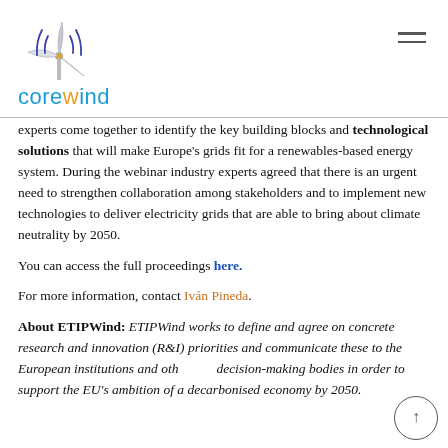[Figure (logo): Corewind logo with wind turbine graphic above the word 'corewind' in blue and orange]
experts come together to identify the key building blocks and technological solutions that will make Europe's grids fit for a renewables-based energy system. During the webinar industry experts agreed that there is an urgent need to strengthen collaboration among stakeholders and to implement new technologies to deliver electricity grids that are able to bring about climate neutrality by 2050.
You can access the full proceedings here.
For more information, contact Iván Pineda.
About ETIPWind: ETIPWind works to define and agree on concrete research and innovation (R&I) priorities and communicate these to the European institutions and other decision-making bodies in order to support the EU's ambition of a decarbonised economy by 2050.